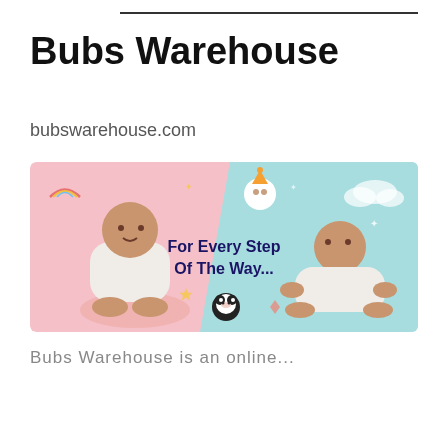Bubs Warehouse
bubswarehouse.com
[Figure (illustration): Bubs Warehouse banner ad showing two babies on a pink and teal background with the text 'For Every Step Of The Way...' and decorative elements including a panda, rainbow, stars, and clouds.]
Bubs Warehouse is an online...